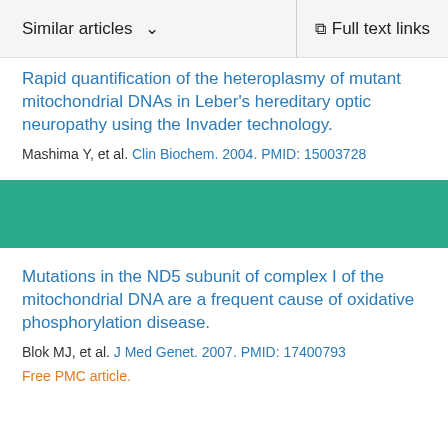Similar articles   Full text links
Rapid quantification of the heteroplasmy of mutant mitochondrial DNAs in Leber's hereditary optic neuropathy using the Invader technology.
Mashima Y, et al. Clin Biochem. 2004. PMID: 15003728
Mutations in the ND5 subunit of complex I of the mitochondrial DNA are a frequent cause of oxidative phosphorylation disease.
Blok MJ, et al. J Med Genet. 2007. PMID: 17400793
Free PMC article.
See all similar articles